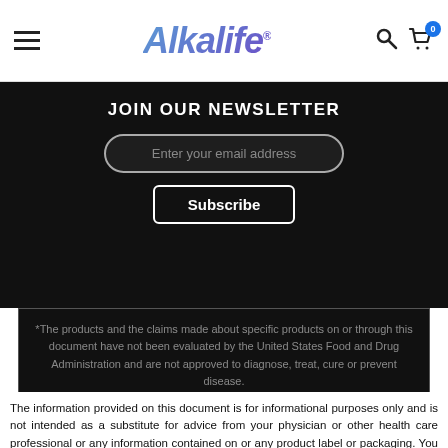Alkalife
JOIN OUR NEWSLETTER
Enter your email address
Subscribe
*The products and the claims made about specific products on or through this document have not been evaluated by the United States Food and Drug Administration and are not approved to diagnose, treat, cure or prevent disease.
The information provided on this document is for informational purposes only and is not intended as a substitute for advice from your physician or other health care professional or any information contained on or any product label or packaging. You should consult with a healthcare professional before starting any diet, exercise or supplementation